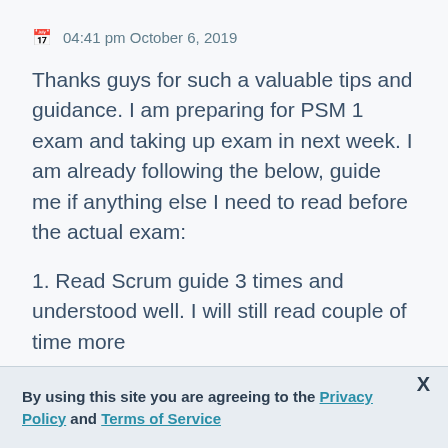04:41 pm October 6, 2019
Thanks guys for such a valuable tips and guidance. I am preparing for PSM 1 exam and taking up exam in next week. I am already following the below, guide me if anything else I need to read before the actual exam:
1. Read Scrum guide 3 times and understood well. I will still read couple of time more
2. I am already giving various mock test
By using this site you are agreeing to the Privacy Policy and Terms of Service